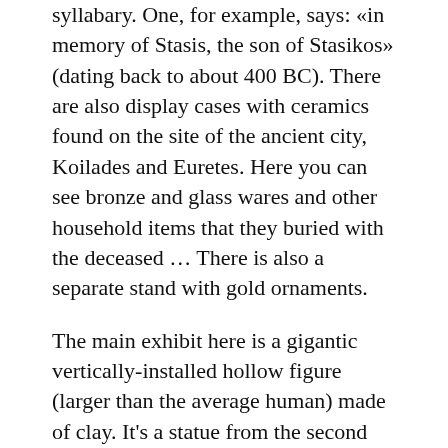syllabary. One, for example, says: «in memory of Stasis, the son of Stasikos» (dating back to about 400 BC). There are also display cases with ceramics found on the site of the ancient city, Koilades and Euretes. Here you can see bronze and glass wares and other household items that they buried with the deceased … There is also a separate stand with gold ornaments.
The main exhibit here is a gigantic vertically-installed hollow figure (larger than the average human) made of clay. It's a statue from the second Cypriot archaic period between the 6th and 5th centuries BC. At 3m tall, it is one of the largest ever clay statues ever made. Fragments of it were discovered during excavations on the site of the tomb. According to historians, it was destroyed in the 3rd-2nd centuries BC, after the